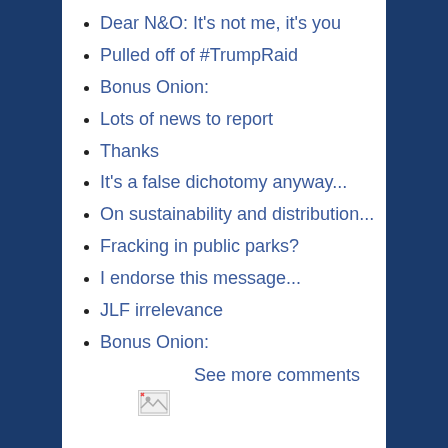Dear N&O: It's not me, it's you
Pulled off of #TrumpRaid
Bonus Onion:
Lots of news to report
Thanks
It's a false dichotomy anyway...
On sustainability and distribution...
Fracking in public parks?
I endorse this message...
JLF irrelevance
Bonus Onion:
See more comments
[Figure (other): Broken image placeholder icon]